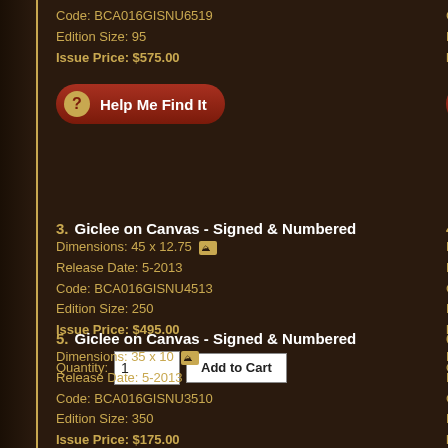Code: BCA016GISNU6519
Edition Size: 95
Issue Price: $575.00
Code: BCA016GR...
Edition Size: 95
Issue Price: $550...
3. Giclee on Canvas - Signed & Numbered
Dimensions: 45 x 12.75
Release Date: 5-2013
Code: BCA016GISNU4513
Edition Size: 250
Issue Price: $495.00
4. Giclee on Paper -...
Dimensions: 45 x...
Release Date: 5-2...
Code: BCA016GP...
Edition Size: 250
Issue Price: $425...
5. Giclee on Canvas - Signed & Numbered
Dimensions: 35 x 10
Release Date: 5-2013
Code: BCA016GISNU3510
Edition Size: 350
Issue Price: $175.00
6. Giclee on Paper -...
Dimensions: 35 x...
Release Date: 5-2...
Code: BCA016GP...
Edition Size: 350
Issue Price: $150...